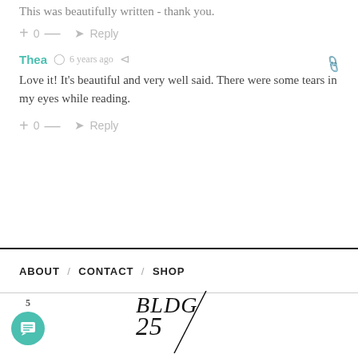This was beautifully written - thank you.
+ 0 — ➜ Reply
Thea · 6 years ago · share
Love it! It's beautiful and very well said. There were some tears in my eyes while reading.
+ 0 — ➜ Reply
ABOUT / CONTACT / SHOP
[Figure (logo): BLDG 25 logo with diagonal slash, italic serif font]